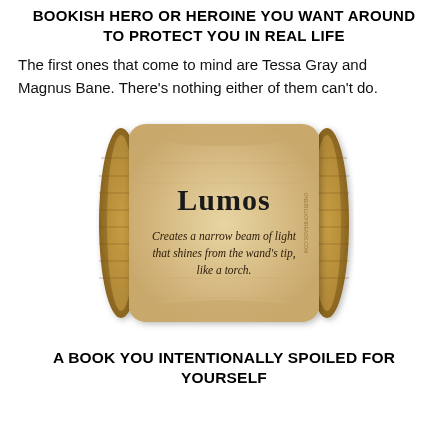BOOKISH HERO OR HEROINE YOU WANT AROUND TO PROTECT YOU IN REAL LIFE
The first ones that come to mind are Tessa Gray and Magnus Bane. There’s nothing either of them can't do.
[Figure (illustration): A parchment scroll illustration showing the word 'Lumos' in bold Harry Potter-style font at the top, and below it the text 'Creates a narrow beam of light that shines from the wand’s tip, like a torch.' in a handwritten-style font. The scroll has rolled ends on both sides and a warm tan/brown aged parchment texture.]
A BOOK YOU INTENTIONALLY SPOILED FOR YOURSELF